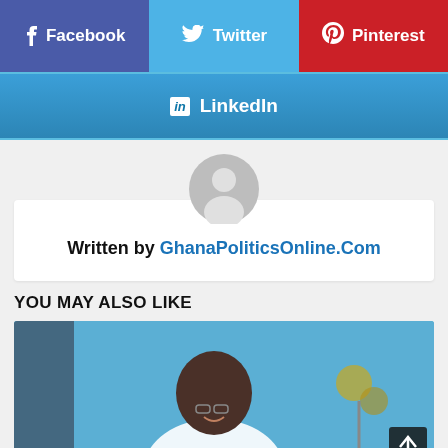[Figure (infographic): Social media share buttons: Facebook (purple-blue), Twitter (light blue), Pinterest (red), LinkedIn (blue, full width)]
[Figure (photo): Default user avatar circle icon (grey silhouette)]
Written by GhanaPoliticsOnline.Com
YOU MAY ALSO LIKE
[Figure (photo): A man smiling, blurred blue background, with a microphone stand visible on the right side]